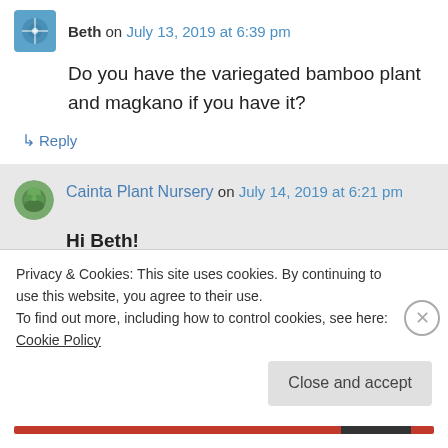Beth on July 13, 2019 at 6:39 pm
Do you have the variegated bamboo plant and magkano if you have it?
↳ Reply
Cainta Plant Nursery on July 14, 2019 at 6:21 pm
Hi Beth!
Privacy & Cookies: This site uses cookies. By continuing to use this website, you agree to their use.
To find out more, including how to control cookies, see here: Cookie Policy
Close and accept